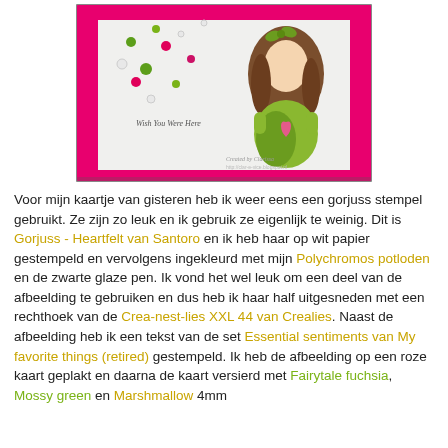[Figure (photo): A handmade greeting card with a pink frame, featuring a Gorjuss doll illustration of a girl with brown hair and green dress holding a pink heart, with colorful dots/gems scattered on white background and cursive text reading 'Wish You Were Here'. Card is displayed on a wooden surface.]
Voor mijn kaartje van gisteren heb ik weer eens een gorjuss stempel gebruikt. Ze zijn zo leuk en ik gebruik ze eigenlijk te weinig. Dit is Gorjuss - Heartfelt van Santoro en ik heb haar op wit papier gestempeld en vervolgens ingekleurd met mijn Polychromos potloden en de zwarte glaze pen. Ik vond het wel leuk om een deel van de afbeelding te gebruiken en dus heb ik haar half uitgesneden met een rechthoek van de Crea-nest-lies XXL 44 van Crealies. Naast de afbeelding heb ik een tekst van de set Essential sentiments van My favorite things (retired) gestempeld. Ik heb de afbeelding op een roze kaart geplakt en daarna de kaart versierd met Fairytale fuchsia, Mossy green en Marshmallow 4mm